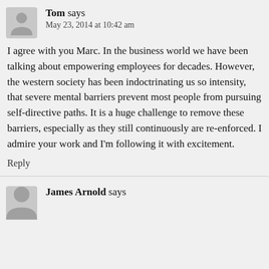Tom says
May 23, 2014 at 10:42 am
I agree with you Marc. In the business world we have been talking about empowering employees for decades. However, the western society has been indoctrinating us so intensity, that severe mental barriers prevent most people from pursuing self-directive paths. It is a huge challenge to remove these barriers, especially as they still continuously are re-enforced. I admire your work and I'm following it with excitement.
Reply
James Arnold says